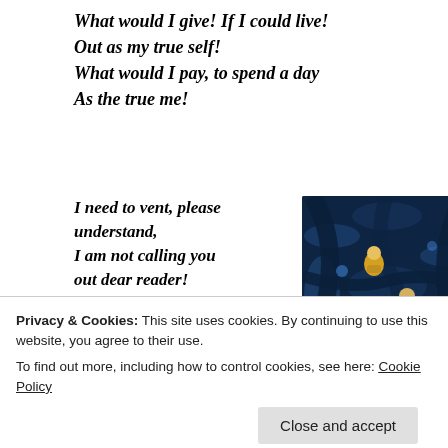What would I give! If I could live!
Out as my true self!
What would I pay, to spend a day
As the true me!
I need to vent, please understand,
I am not calling you out dear reader!
But this creator,
needs to update her...
true content!
[Figure (screenshot): Animated scene with cartoon characters in a dark blue cave/underground environment with glowing elements and colorful characters]
Privacy & Cookies: This site uses cookies. By continuing to use this website, you agree to their use.
To find out more, including how to control cookies, see here: Cookie Policy
Close and accept
to
[Figure (photo): Orange/warm toned image partially visible at bottom of page]